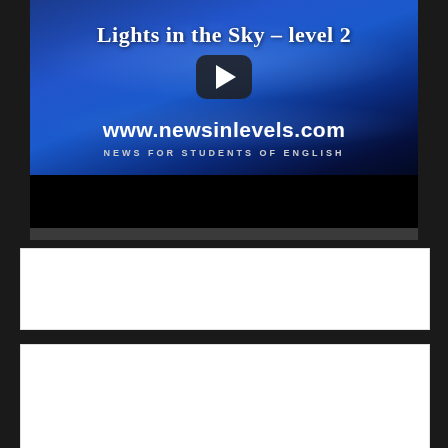[Figure (screenshot): Video thumbnail for 'Lights in the Sky – level 2' from www.newsinlevels.com with play button and tagline NEWS FOR STUDENTS OF ENGLISH]
What do you think about this news?
LEARN 3000 WORDS with NEWS IN LEVELS
News in Levels is designed to teach you 3000 words in English. Please follow the instructions below.